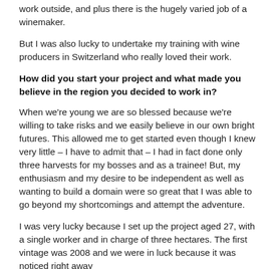work outside, and plus there is the hugely varied job of a winemaker.
But I was also lucky to undertake my training with wine producers in Switzerland who really loved their work.
How did you start your project and what made you believe in the region you decided to work in?
When we're young we are so blessed because we're willing to take risks and we easily believe in our own bright futures. This allowed me to get started even though I knew very little – I have to admit that – I had in fact done only three harvests for my bosses and as a trainee! But, my enthusiasm and my desire to be independent as well as wanting to build a domain were so great that I was able to go beyond my shortcomings and attempt the adventure.
I was very lucky because I set up the project aged 27, with a single worker and in charge of three hectares. The first vintage was 2008 and we were in luck because it was noticed right away by some discerning palates and that was an encouragement that...